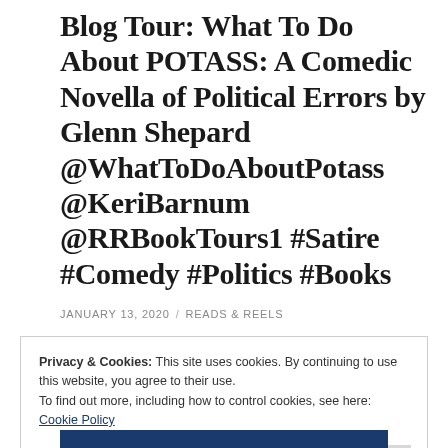Blog Tour: What To Do About POTASS: A Comedic Novella of Political Errors by Glenn Shepard @WhatToDoAboutPotass @KeriBarnum @RRBookTours1 #Satire #Comedy #Politics #Books
JANUARY 13, 2020 / READS & REELS
Privacy & Cookies: This site uses cookies. By continuing to use this website, you agree to their use.
To find out more, including how to control cookies, see here: Cookie Policy